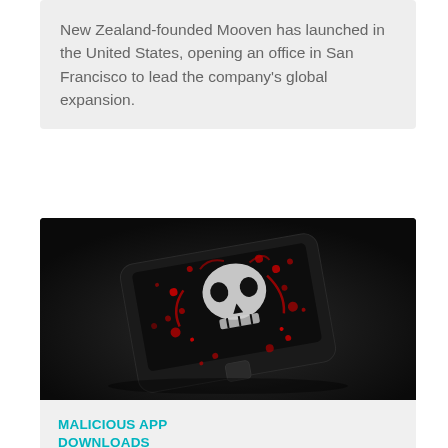New Zealand-founded Mooven has launched in the United States, opening an office in San Francisco to lead the company's global expansion.
[Figure (photo): A smartphone with a skull and blood splatter design on its screen, set against a dark background, suggesting malicious/dangerous software.]
MALICIOUS APP DOWNLOADS
Bitdefender finds malicious campaign active on Google Play